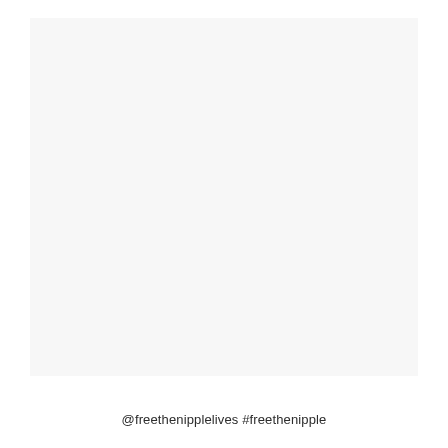[Figure (photo): A largely blank/white image area with a light gray background, no visible subject content.]
@freethenipplelives #freethenipple